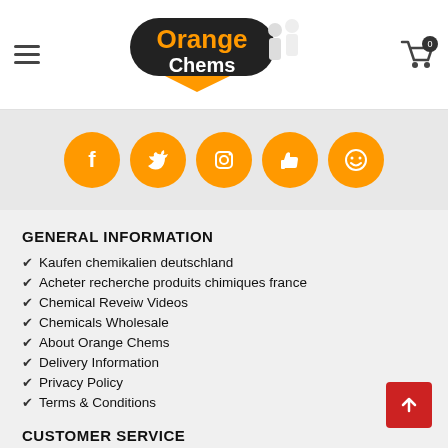Orange Chems
[Figure (logo): Orange Chems logo with orange pill-shaped background and stylized text, plus figure of children in white]
[Figure (infographic): Five orange circular social media icons: Facebook, Twitter, Instagram, Like/Thumbs-up, and a smiley face icon]
GENERAL INFORMATION
Kaufen chemikalien deutschland
Acheter recherche produits chimiques france
Chemical Reveiw Videos
Chemicals Wholesale
About Orange Chems
Delivery Information
Privacy Policy
Terms & Conditions
CUSTOMER SERVICE
Contact